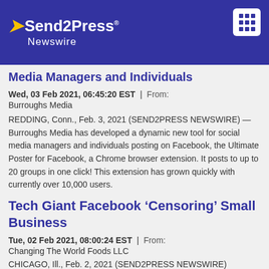Send2Press Newswire
Media Managers and Individuals
Wed, 03 Feb 2021, 06:45:20 EST | From: Burroughs Media
REDDING, Conn., Feb. 3, 2021 (SEND2PRESS NEWSWIRE) — Burroughs Media has developed a dynamic new tool for social media managers and individuals posting on Facebook, the Ultimate Poster for Facebook, a Chrome browser extension. It posts to up to 20 groups in one click! This extension has grown quickly with currently over 10,000 users.
Tech Giant Facebook ‘Censoring’ Small Business
Tue, 02 Feb 2021, 08:00:24 EST | From: Changing The World Foods LLC
CHICAGO, Ill., Feb. 2, 2021 (SEND2PRESS NEWSWIRE)